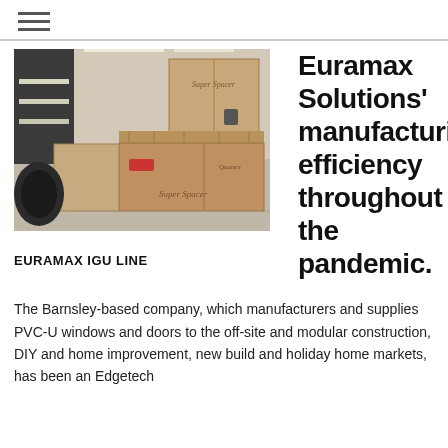☰
[Figure (photo): Warehouse photo showing stacked cardboard boxes labeled 'Super Spacer' on wooden pallets, with industrial equipment in the background.]
EURAMAX IGU LINE
Euramax Solutions' manufacturing efficiency throughout the pandemic.
The Barnsley-based company, which manufacturers and supplies PVC-U windows and doors to the off-site and modular construction, DIY and home improvement, new build and holiday home markets, has been an Edgetech